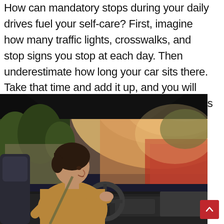How can mandatory stops during your daily drives fuel your self-care? First, imagine how many traffic lights, crosswalks, and stop signs you stop at each day. Then underestimate how long your car sits there. Take that time and add it up, and you will have a time for a range of self-care activities that are still safe to perform while you are behind the wheel.
[Figure (photo): A woman sitting in the driver's seat of a car, smiling and looking forward, with one hand on the steering wheel. Sunlight streams through the windshield. Green trees are visible outside. The car interior dashboard is visible on the right.]